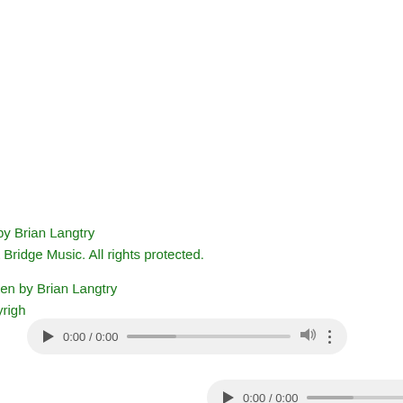by Brian Langtry
t Bridge Music. All rights protected.
ten by Brian Langtry
yrigh
[Figure (screenshot): Audio player control bar showing play button, time 0:00 / 0:00, progress bar, volume icon, and more options icon on a light grey rounded rectangle background]
[Figure (screenshot): Second audio player control bar showing play button, time 0:00 / 0:00, and progress bar on a light grey rounded rectangle background, partially visible at bottom right]